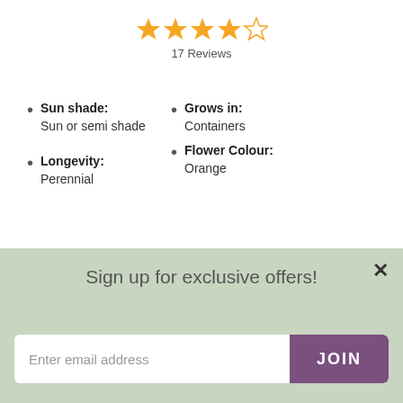[Figure (other): 4 out of 5 star rating with orange filled stars and one empty star]
17 Reviews
Sun shade: Sun or semi shade
Grows in: Containers
Flower Colour: Orange
Longevity: Perennial
[Figure (photo): Photo of green leafy plant with orange/red berries or flowers]
Sign up for exclusive offers!
Enter email address
JOIN